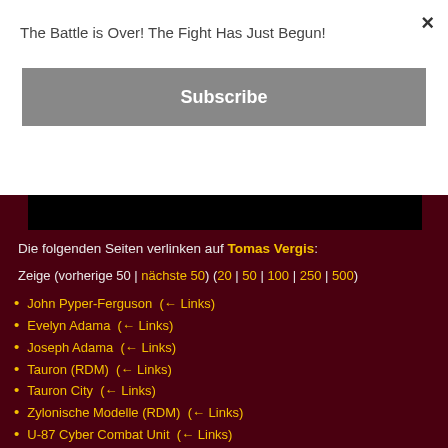The Battle is Over! The Fight Has Just Begun!
Subscribe
Die folgenden Seiten verlinken auf Tomas Vergis:
Zeige (vorherige 50 | nächste 50) (20 | 50 | 100 | 250 | 500)
John Pyper-Ferguson  (← Links)
Evelyn Adama  (← Links)
Joseph Adama  (← Links)
Tauron (RDM)  (← Links)
Tauron City  (← Links)
Zylonische Modelle (RDM)  (← Links)
U-87 Cyber Combat Unit  (← Links)
William Adama Senior  (← Links)
Caprica (Pilotfilm)  (← Links)
Isabelle Adama  (← Links)
Graystone Industries  (← Links)